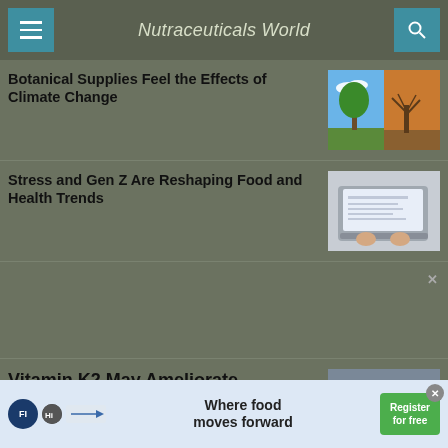Nutraceuticals World
Botanical Supplies Feel the Effects of Climate Change
[Figure (photo): Split image of green tree on left and autumn/bare tree on right against blue sky]
Stress and Gen Z Are Reshaping Food and Health Trends
[Figure (photo): Person typing on a laptop keyboard]
[Figure (other): Advertisement placeholder area with close X button]
Vitamin K2 May Ameliorate Polycystic Ovary Syndrome
[Figure (photo): Scientific or medical illustration]
[Figure (other): Bottom advertisement banner: Where food moves forward - Register for free, with FI and Hi logos]